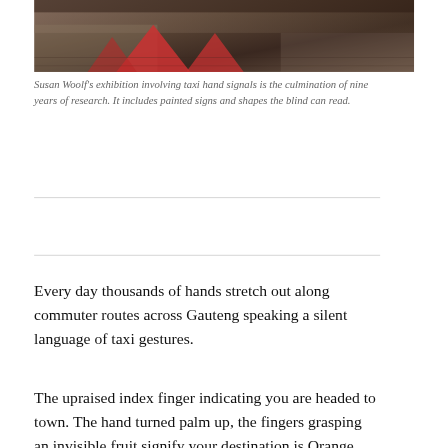[Figure (photo): Photo showing painted red triangle/arrow shapes on a ground surface, part of Susan Woolf's taxi hand signals exhibition]
Susan Woolf's exhibition involving taxi hand signals is the culmination of nine years of research. It includes painted signs and shapes the blind can read.
Every day thousands of hands stretch out along commuter routes across Gauteng speaking a silent language of taxi gestures.
The upraised index finger indicating you are headed to town. The hand turned palm up, the fingers grasping an invisible fruit signify your destination is Orange Farm. These gestures are the framework for a complex system of transport routes.